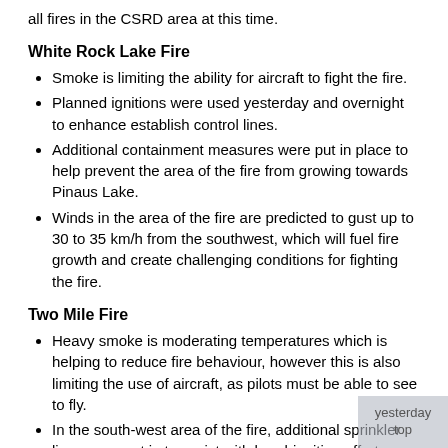all fires in the CSRD area at this time.
White Rock Lake Fire
Smoke is limiting the ability for aircraft to fight the fire.
Planned ignitions were used yesterday and overnight to enhance establish control lines.
Additional containment measures were put in place to help prevent the area of the fire from growing towards Pinaus Lake.
Winds in the area of the fire are predicted to gust up to 30 to 35 km/h from the southwest, which will fuel fire growth and create challenging conditions for fighting the fire.
Two Mile Fire
Heavy smoke is moderating temperatures which is helping to reduce fire behaviour, however this is also limiting the use of aircraft, as pilots must be able to see to fly.
In the south-west area of the fire, additional sprinkler lines were put in to assist with hand-ignition efforts yesterday creating more secure guards.
On the north side of the fire crews are creating guards and